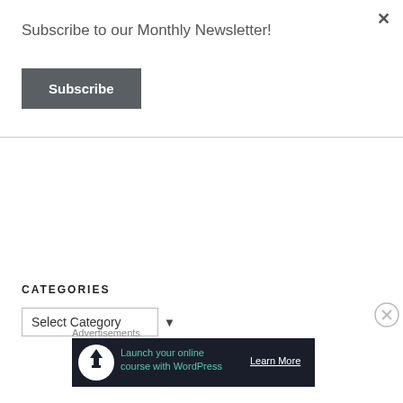×
Subscribe to our Monthly Newsletter!
Subscribe
CATEGORIES
Select Category
Advertisements
[Figure (infographic): Advertisement banner: dark background with circular icon (upload/cloud arrow), teal text 'Launch your online course with WordPress', white 'Learn More' link]
⊗